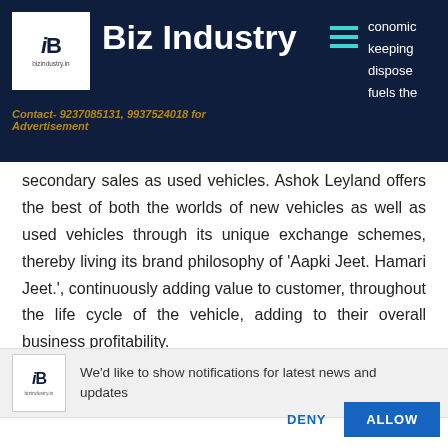Biz Industry — bizindustry.in | Contact- 9237085131, 9937524018 for Advertisement
secondary sales as used vehicles. Ashok Leyland offers the best of both the worlds of new vehicles as well as used vehicles through its unique exchange schemes, thereby living its brand philosophy of 'Aapki Jeet. Hamari Jeet.', continuously adding value to customer, throughout the life cycle of the vehicle, adding to their overall business profitability.
We'd like to show notifications for latest news and updates